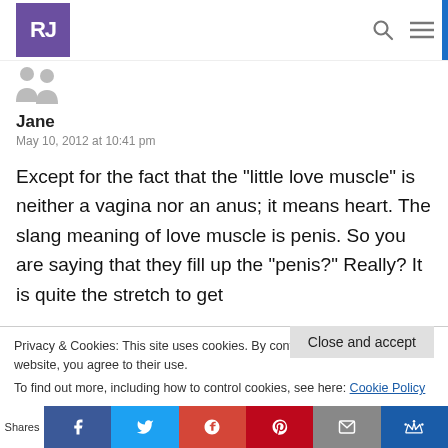RJ [logo] [search icon] [menu icon]
[Figure (illustration): Two grey avatar/person icons side by side]
Jane
May 10, 2012 at 10:41 pm
Except for the fact that the "little love muscle" is neither a vagina nor an anus; it means heart. The slang meaning of love muscle is penis. So you are saying that they fill up the "penis?" Really? It is quite the stretch to get
Privacy & Cookies: This site uses cookies. By continuing to use this website, you agree to their use.
To find out more, including how to control cookies, see here: Cookie Policy
Close and accept
Shares [Facebook] [Twitter] [Google+] [Pinterest] [Email] [Crown]